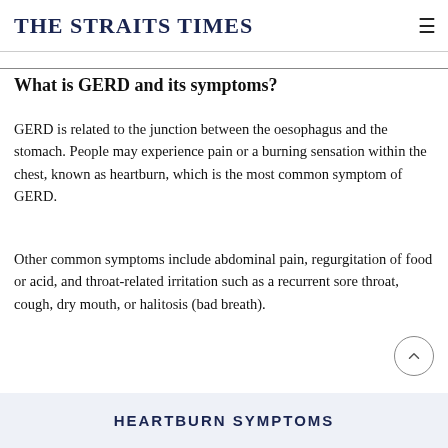THE STRAITS TIMES
What is GERD and its symptoms?
GERD is related to the junction between the oesophagus and the stomach. People may experience pain or a burning sensation within the chest, known as heartburn, which is the most common symptom of GERD.
Other common symptoms include abdominal pain, regurgitation of food or acid, and throat-related irritation such as a recurrent sore throat, cough, dry mouth, or halitosis (bad breath).
HEARTBURN SYMPTOMS